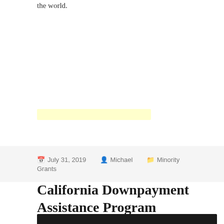the world.
[Figure (other): Yellow highlighted bar element]
July 31, 2019  Michael  Minority Grants
California Downpayment Assistance Program
[Figure (photo): Dark image at bottom of page]